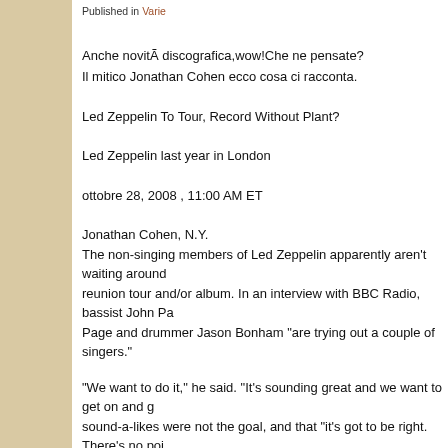Published in Varie
Anche novità  discografica,wow!Che ne pensate?
Il mitico Jonathan Cohen ecco cosa ci racconta.
Led Zeppelin To Tour, Record Without Plant?
Led Zeppelin last year in London
ottobre 28, 2008 , 11:00 AM ET
Jonathan Cohen, N.Y.
The non-singing members of Led Zeppelin apparently aren't waiting around for Robert Plant to agree to a reunion tour and/or album. In an interview with BBC Radio, bassist John Pa… Page and drummer Jason Bonham "are trying out a couple of singers."
“We want to do it,” he said. “It’s sounding great and we want to get on and g… sound-a-likes were not the goal, and that “it’s got to be right. There’s no poi… could get that out of a tribute band, but we don’t want to be our own tribute…
With Plant, Zeppelin reunited for a well-received one-off concert last Decem… been touring with Alison Krauss for most of 2008, recently said he has no p…